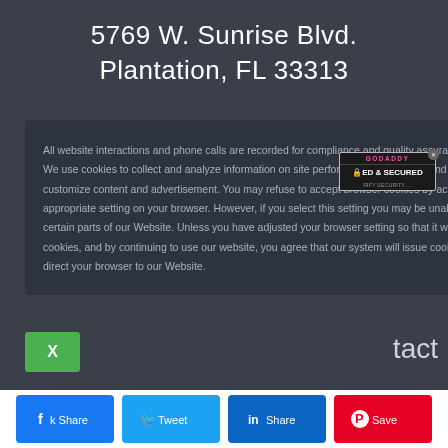5769 W. Sunrise Blvd.
Plantation, FL 33313
All website interactions and phone calls are recorded for compliance and quality assurance purposes. We use cookies to collect and analyze information on site performance and usage, and to enhance and customize content and advertisement. You may refuse to accept browser cookies by activating the appropriate setting on your browser. However, if you select this setting you may be unable to access certain parts of our Website. Unless you have adjusted your browser setting so that it will refuse cookies, and by continuing to use our website, you agree that our system will issue cookies when you direct your browser to our Website.
[Figure (logo): GoDaddy Verified & Secured security badge]
[Figure (other): Green X close button]
tact
[Figure (other): Social share buttons bar: Facebook (k Share), Twitter (Tweet), LinkedIn (in Share), Pinterest (Save)]